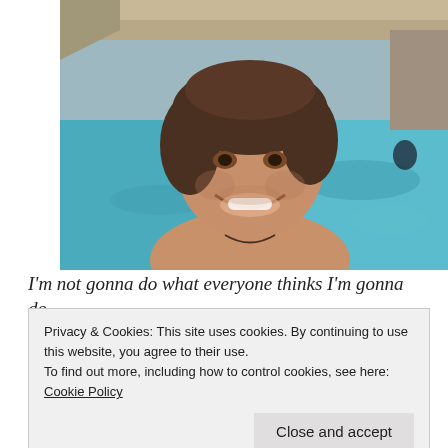[Figure (photo): A smiling man with medium-length brown hair and stubble, shirtless, taking a selfie near a turquoise swimming pool or natural water body with rocky surroundings in the background.]
I'm not gonna do what everyone thinks I'm gonna do
Privacy & Cookies: This site uses cookies. By continuing to use this website, you agree to their use.
To find out more, including how to control cookies, see here: Cookie Policy
Close and accept